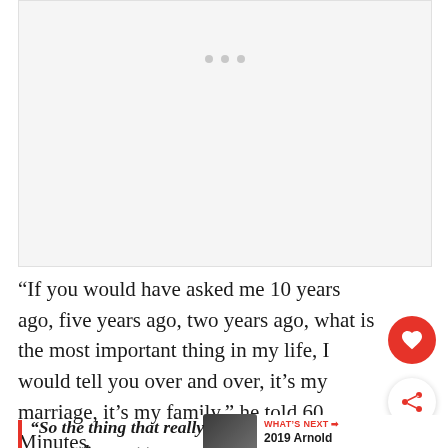[Figure (other): Advertisement or media placeholder area with light grey background and three small grey dots near the top center]
“If you would have asked me 10 years ago, five years ago, two years ago, what is the most important thing in my life, I would tell you over and over, it’s my marriage, it’s my family,” he told 60 Minutes.
“So the thing that really meant the most to me